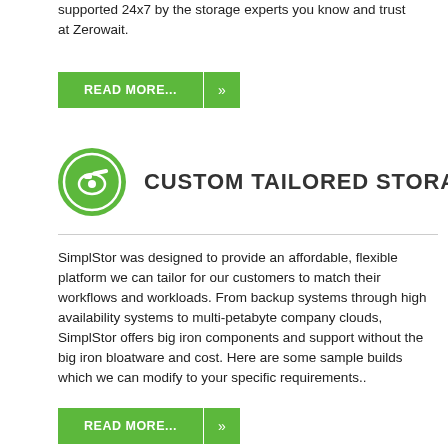supported 24x7 by the storage experts you know and trust at Zerowait.
[Figure (other): Green READ MORE... button with arrow]
[Figure (other): Green circle icon with a security camera/storage device icon inside]
CUSTOM TAILORED STORAGE
SimplStor was designed to provide an affordable, flexible platform we can tailor for our customers to match their workflows and workloads. From backup systems through high availability systems to multi-petabyte company clouds, SimplStor offers big iron components and support without the big iron bloatware and cost. Here are some sample builds which we can modify to your specific requirements..
[Figure (other): Green READ MORE... button with arrow]